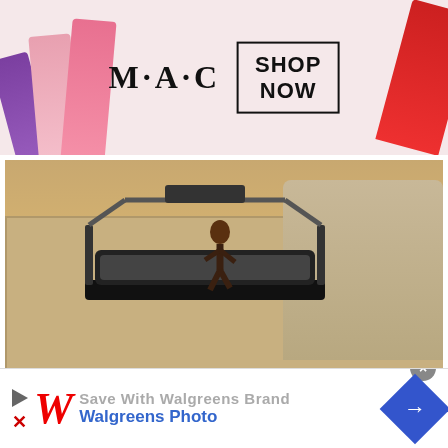[Figure (photo): MAC cosmetics advertisement banner with colorful lipsticks on left and right sides, MAC logo in center, and SHOP NOW button in a box]
[Figure (photo): Person running on a treadmill in a living room setting with a rug and sofa visible]
Let’s take a look at some of the criteria when choosing to buy below.
Appropriate Size Of Running Belt
[Figure (other): Walgreens advertisement banner: Save With Walgreens Brand, Walgreens Photo, with red W logo and blue navigation arrow]